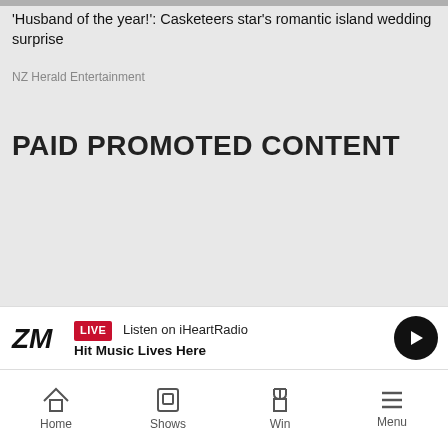[Figure (photo): Partial view of an article image at the top of the page (cropped, gray placeholder strip visible)]
'Husband of the year!': Casketeers star's romantic island wedding surprise
NZ Herald Entertainment
PAID PROMOTED CONTENT
LIVE Listen on iHeartRadio
Hit Music Lives Here
Home  Shows  Win  Menu